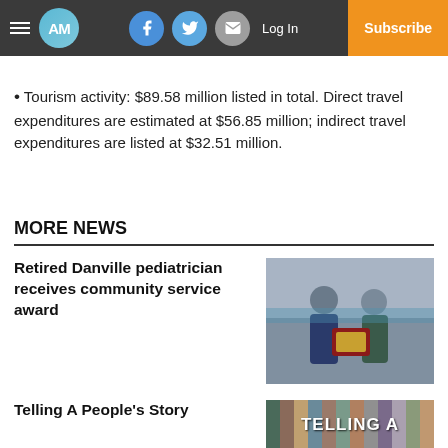AM | Log In | Subscribe
Tourism activity: $89.58 million listed in total. Direct travel expenditures are estimated at $56.85 million; indirect travel expenditures are listed at $32.51 million.
MORE NEWS
Retired Danville pediatrician receives community service award
[Figure (photo): Two people holding a plaque/award, standing in front of a blue background]
Telling A People's Story
[Figure (photo): Collage/banner image with text 'TELLING A...']